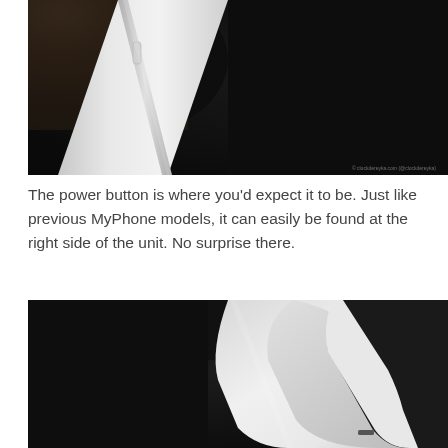[Figure (photo): Close-up photo of the right side of a white smartphone showing the power button, held by a hand against a dark background. A watermark reads 'clockdereyka.com (@clockdereyka)' in the bottom-right corner.]
The power button is where you'd expect it to be. Just like previous MyPhone models, it can easily be found at the right side of the unit. No surprise there.
[Figure (photo): Close-up photo of the bottom corner of a white smartphone showing the bottom edge with a charging port, against a dark background.]